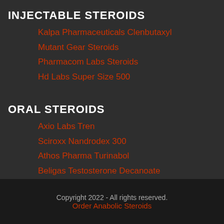INJECTABLE STEROIDS
Kalpa Pharmaceuticals Clenbutaxyl
Mutant Gear Steroids
Pharmacom Labs Steroids
Hd Labs Super Size 500
ORAL STEROIDS
Axio Labs Tren
Sciroxx Nandrodex 300
Athos Pharma Turinabol
Beligas Testosterone Decanoate
Copyright 2022 - All rights reserved.
Order Anabolic Steroids